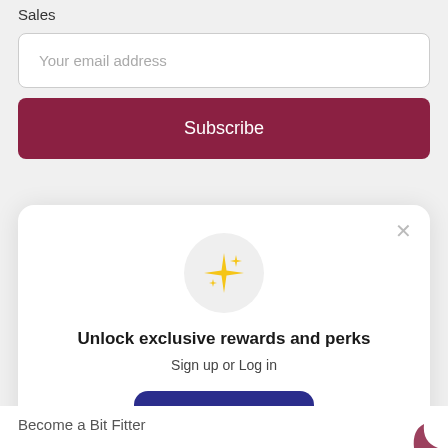Sales
Your email address
Subscribe
Unlock exclusive rewards and perks
Sign up or Log in
Sign up
Already have an account? Sign in
Become a Bit Fitter